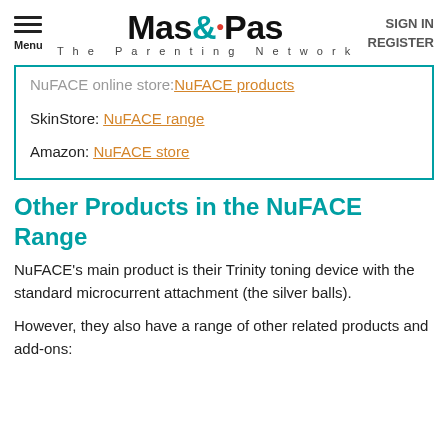Menu | Mas&Pas The Parenting Network | SIGN IN REGISTER
NuFACE online store: NuFACE products
SkinStore: NuFACE range
Amazon: NuFACE store
Other Products in the NuFACE Range
NuFACE's main product is their Trinity toning device with the standard microcurrent attachment (the silver balls).
However, they also have a range of other related products and add-ons: